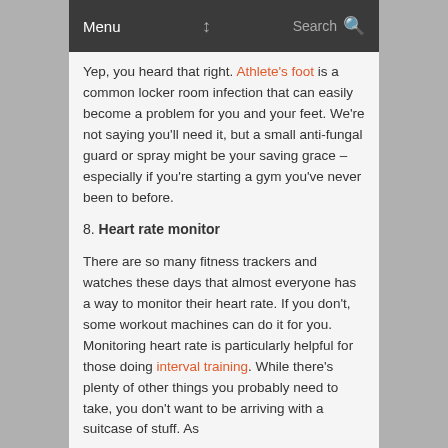Menu   Search
Yep, you heard that right. Athlete's foot is a common locker room infection that can easily become a problem for you and your feet. We're not saying you'll need it, but a small anti-fungal guard or spray might be your saving grace – especially if you're starting a gym you've never been to before.
8. Heart rate monitor
There are so many fitness trackers and watches these days that almost everyone has a way to monitor their heart rate. If you don't, some workout machines can do it for you. Monitoring heart rate is particularly helpful for those doing interval training. While there's plenty of other things you probably need to take, you don't want to be arriving with a suitcase of stuff. As